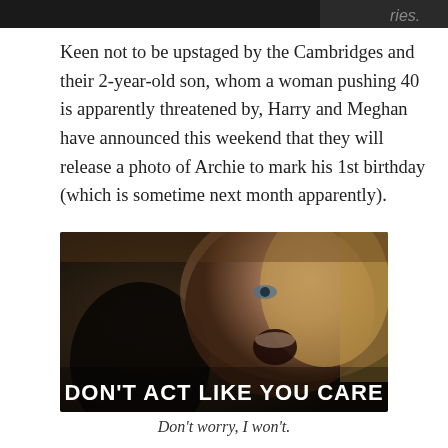[Figure (photo): Partial top image, cropped at top of page, dark image with text 'ries.' visible at right edge]
Keen not to be upstaged by the Cambridges and their 2-year-old son, whom a woman pushing 40 is apparently threatened by, Harry and Meghan have announced this weekend that they will release a photo of Archie to mark his 1st birthday (which is sometime next month apparently).
[Figure (photo): Meme image of a blonde woman singing or reacting emotionally with open mouth, with bold white text overlay reading 'DON'T ACT LIKE YOU CARE']
Don't worry, I won't.